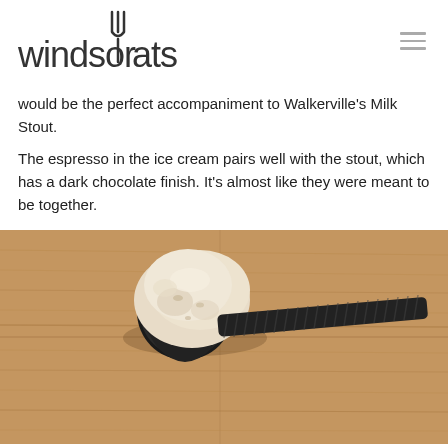windsoreats
would be the perfect accompaniment to Walkerville's Milk Stout.
The espresso in the ice cream pairs well with the stout, which has a dark chocolate finish. It's almost like they were meant to be together.
[Figure (photo): A scoop of light-colored ice cream on a dark metal ice cream scoop, resting on a wooden surface.]